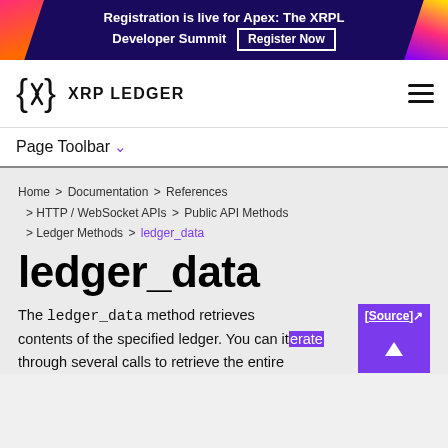Registration is live for Apex: The XRPL Developer Summit  Register Now
[Figure (logo): XRP Ledger logo with curly-brace X mark and text XRP LEDGER]
Page Toolbar ▾
Home > Documentation > References > HTTP / WebSocket APIs > Public API Methods > Ledger Methods > ledger_data
ledger_data
The ledger_data method retrieves contents of the specified ledger. You can iterate through several calls to retrieve the entire